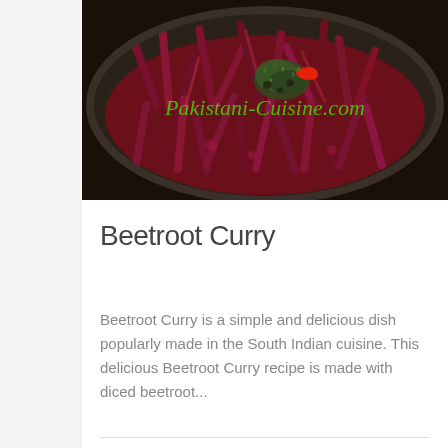[Figure (photo): A dark pan filled with beetroot strips (julienned beetroot) cooked in a red/crimson sauce, garnished with herbs and a red chili pepper. The watermark 'Pakistani-Cuisine.com' appears in green italic text across the image.]
Beetroot Curry
Beetroot Curry is a simple and delicious dish popularly made in the South Indian cuisine. This delicious Beetroot Curry recipe is made with diced beetroot...